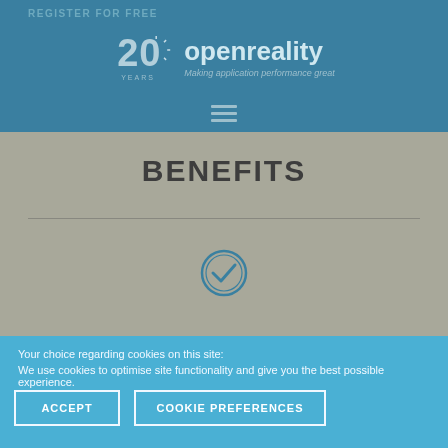REGISTER FOR FREE
[Figure (logo): openreality logo with 20 YEARS badge and tagline: Making application performance great]
[Figure (illustration): Hamburger menu icon (three horizontal lines)]
BENEFITS
[Figure (illustration): Checkmark icon in a circle, teal/blue color]
Your choice regarding cookies on this site: We use cookies to optimise site functionality and give you the best possible experience.
ACCEPT
COOKIE PREFERENCES